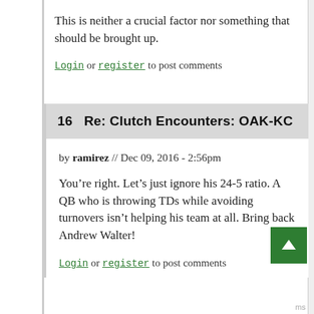This is neither a crucial factor nor something that should be brought up.
Login or register to post comments
16   Re: Clutch Encounters: OAK-KC
by ramirez // Dec 09, 2016 - 2:56pm
You’re right. Let’s just ignore his 24-5 ratio. A QB who is throwing TDs while avoiding turnovers isn’t helping his team at all. Bring back Andrew Walter!
Login or register to post comments